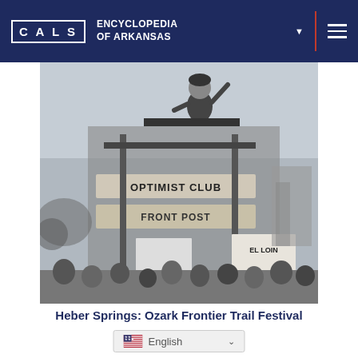CALS ENCYCLOPEDIA OF ARKANSAS
[Figure (photo): Black and white photograph of a person waving from atop a parade float or structure, with signs visible including 'OPTIMIST CLUB' and other partially visible text. Crowd visible at bottom.]
Heber Springs: Ozark Frontier Trail Festival